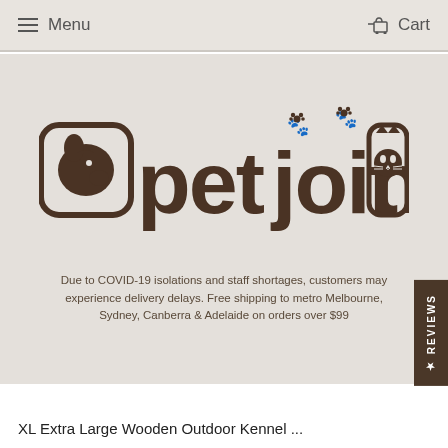Menu   Cart
[Figure (logo): Petjoint logo with dog and cat icons in rounded square boxes, paw prints above the 'o' letters, brown text on beige background]
Due to COVID-19 isolations and staff shortages, customers may experience delivery delays. Free shipping to metro Melbourne, Sydney, Canberra & Adelaide on orders over $99
Home  >  Premium Dog Kennels  >
XL Extra Large Wooden Outdoor Kennel ...